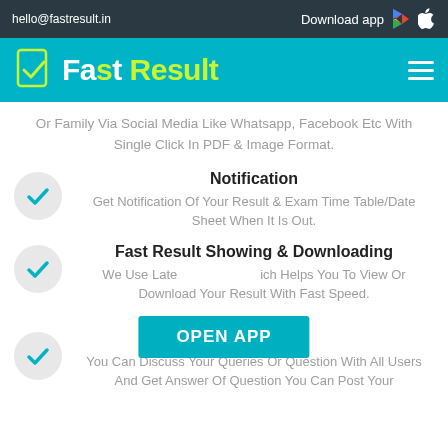hello@fastresult.in | Download app
[Figure (logo): Fast Result logo with checkmark icon, white and yellow-green text on teal background]
Or Family Via Social Media Like Whatsapp, Facebook Etc With Single Click In PDF & Image Format.
Notification
Get Notification Of Your Result & Exam Time Table/Date Sheet When It Is Out.
Fast Result Showing & Downloading
We Use Latest Technology Which Helps You To View Or Download Your Result With Fast Speed.
Discuss
You Can Discuss Your Queries Or Question With All Users And Get Answer Of Question You Can Post Your